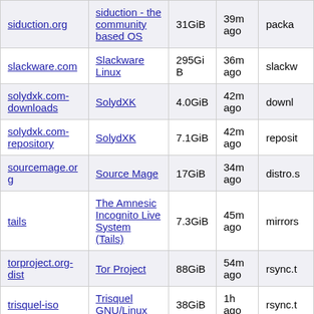| Site | Project | Size | Updated | Info |
| --- | --- | --- | --- | --- |
| siduction.org | siduction - the community based OS | 31GiB | 39m ago | packa… |
| slackware.com | Slackware Linux | 295GiB | 36m ago | slackw… |
| solydxk.com-downloads | SolydXK | 4.0GiB | 42m ago | downl… |
| solydxk.com-repository | SolydXK | 7.1GiB | 42m ago | reposit… |
| sourcemage.org | Source Mage | 17GiB | 34m ago | distro.s… |
| tails | The Amnesic Incognito Live System (Tails) | 7.3GiB | 45m ago | mirrors… |
| torproject.org-dist | Tor Project | 88GiB | 54m ago | rsync.t… |
| trisquel-iso | Trisquel GNU/Linux | 38GiB | 1h ago | rsync.t… |
| trisquel-packages | Trisquel | 891GiB | 1h | rsync.t… |